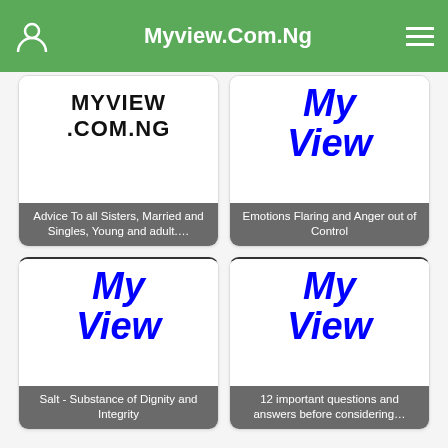Myview.Com.Ng
[Figure (screenshot): Card with MYVIEW.COM.NG logo text and caption: Advice To all Sisters, Married and Singles, Young and adult....]
[Figure (screenshot): Card with My View logo graphic and caption: Emotions Flaring and Anger out of Control]
[Figure (screenshot): Card with My View logo graphic and caption: Salt - Substance of Dignity and Integrity]
[Figure (screenshot): Card with My View logo graphic and caption: 12 important questions and answers before considering...]